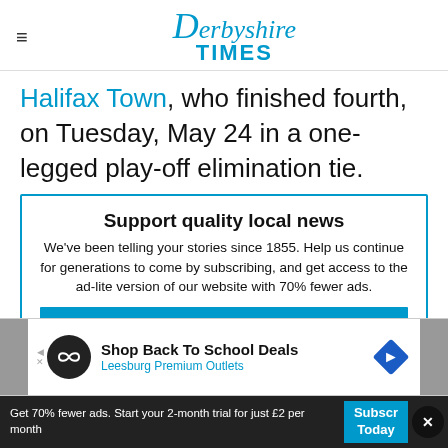Derbyshire Times
Halifax Town, who finished fourth, on Tuesday, May 24 in a one-legged play-off elimination tie.
Support quality local news
We've been telling your stories since 1855. Help us continue for generations to come by subscribing, and get access to the ad-lite version of our website with 70% fewer ads.
Subscribe
[Figure (infographic): Advertisement banner: Shop Back To School Deals at Leesburg Premium Outlets]
Get 70% fewer ads. Start your 2-month trial for just £2 per month
Subscribe Today